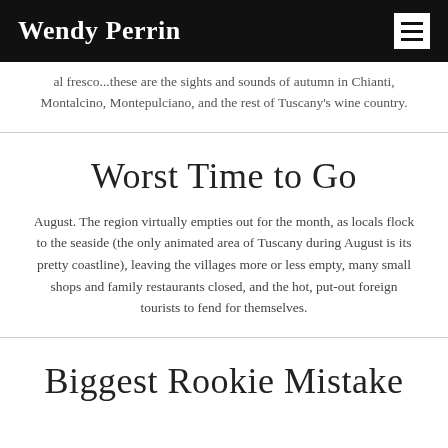Wendy Perrin
al fresco...these are the sights and sounds of autumn in Chianti, Montalcino, Montepulciano, and the rest of Tuscany's wine country.
Worst Time to Go
August. The region virtually empties out for the month, as locals flock to the seaside (the only animated area of Tuscany during August is its pretty coastline), leaving the villages more or less empty, many small shops and family restaurants closed, and the hot, put-out foreign tourists to fend for themselves.
Biggest Rookie Mistake